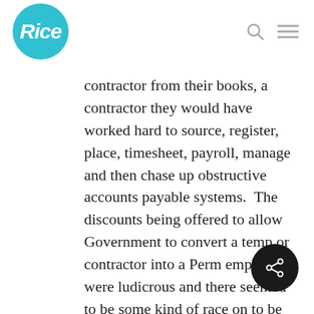Rice
contractor from their books, a contractor they would have worked hard to source, register, place, timesheet, payroll, manage and then chase up obstructive accounts payable systems.  The discounts being offered to allow Government to convert a temp or contractor into a Perm employee were ludicrous and there seemed to be some kind of race on to be the first firm to offer a 100% discount for contractors who have worked 9 months or longer.